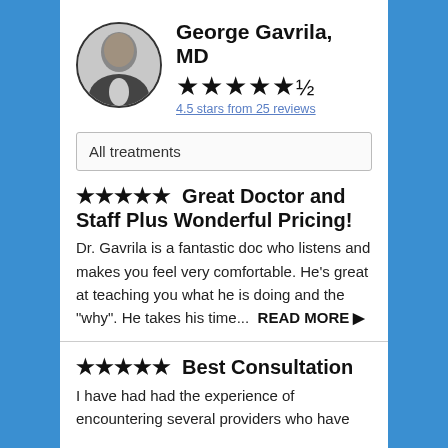George Gavrila, MD
[Figure (photo): Circular black and white portrait photo of Dr. George Gavrila in a suit]
★★★★★½
4.5 stars from 25 reviews
All treatments
★★★★★  Great Doctor and Staff Plus Wonderful Pricing!
Dr. Gavrila is a fantastic doc who listens and makes you feel very comfortable. He's great at teaching you what he is doing and the "why". He takes his time...  READ MORE ▶
★★★★★  Best Consultation
I have had had the experience of encountering several providers who have